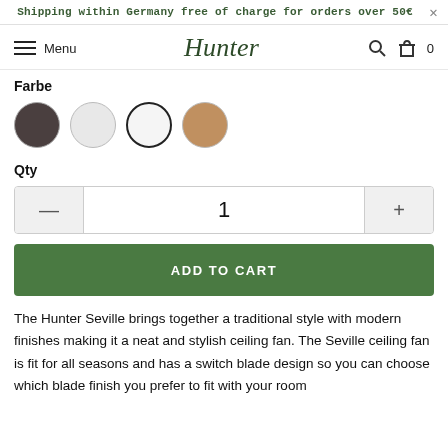Shipping within Germany free of charge for orders over 50€
Menu  Hunter  0
Farbe
[Figure (other): Four color swatches: charcoal/dark gray, light gray/white, white (selected with dark border), tan/brown]
Qty
[Figure (other): Quantity selector control with minus button, value 1, and plus button]
ADD TO CART
The Hunter Seville brings together a traditional style with modern finishes making it a neat and stylish ceiling fan. The Seville ceiling fan is fit for all seasons and has a switch blade design so you can choose which blade finish you prefer to fit with your room